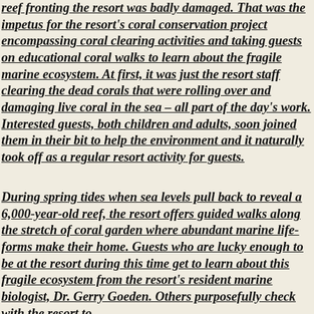reef fronting the resort was badly damaged. That was the impetus for the resort's coral conservation project encompassing coral clearing activities and taking guests on educational coral walks to learn about the fragile marine ecosystem. At first, it was just the resort staff clearing the dead corals that were rolling over and damaging live coral in the sea – all part of the day's work. Interested guests, both children and adults, soon joined them in their bit to help the environment and it naturally took off as a regular resort activity for guests.
During spring tides when sea levels pull back to reveal a 6,000-year-old reef, the resort offers guided walks along the stretch of coral garden where abundant marine life-forms make their home. Guests who are lucky enough to be at the resort during this time get to learn about this fragile ecosystem from the resort's resident marine biologist, Dr. Gerry Goeden. Others purposefully check with the resort to